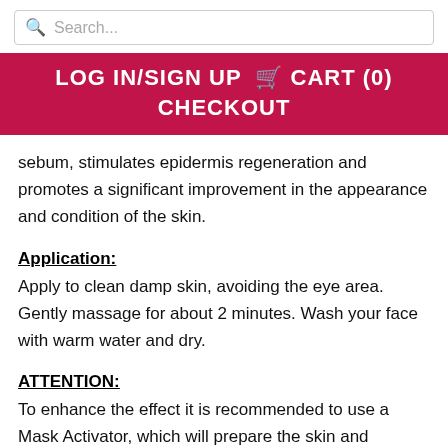Search...
LOG IN/SIGN UP  CART (0)  CHECKOUT
sebum, stimulates epidermis regeneration and promotes a significant improvement in the appearance and condition of the skin.
Application:
Apply to clean damp skin, avoiding the eye area. Gently massage for about 2 minutes. Wash your face with warm water and dry.
ATTENTION:
To enhance the effect it is recommended to use a Mask Activator, which will prepare the skin and significantly support the operation of the mask.
Warnings:
Do not use peeling on delicate, sensitive, capillary,